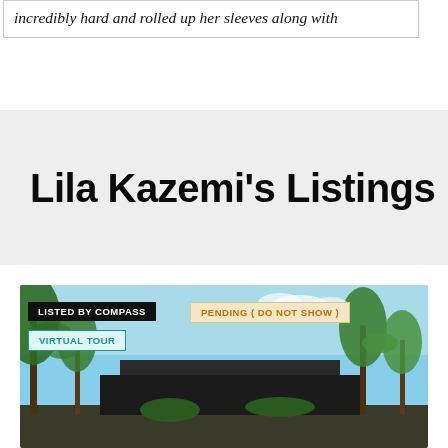incredibly hard and rolled up her sleeves along with
Lila Kazemi's Listings
[Figure (photo): Real estate listing photo showing a modern home exterior with palm trees and blue sky. Overlaid badges: 'LISTED BY COMPASS', 'PENDING ( DO NOT SHOW )', 'VIRTUAL TOUR']